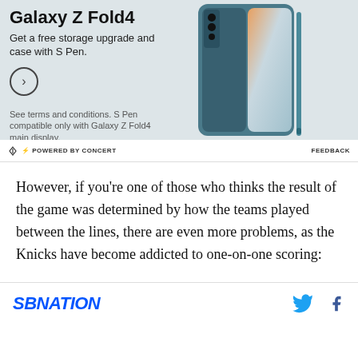[Figure (photo): Samsung Galaxy Z Fold4 advertisement banner showing a teal/blue folding smartphone with S Pen. Text reads: 'Get a free storage upgrade and case with S Pen.' with a circle arrow button and fine print about terms and conditions.]
⚡ POWERED BY CONCERT
FEEDBACK
However, if you're one of those who thinks the result of the game was determined by how the teams played between the lines, there are even more problems, as the Knicks have become addicted to one-on-one scoring:
SBNATION